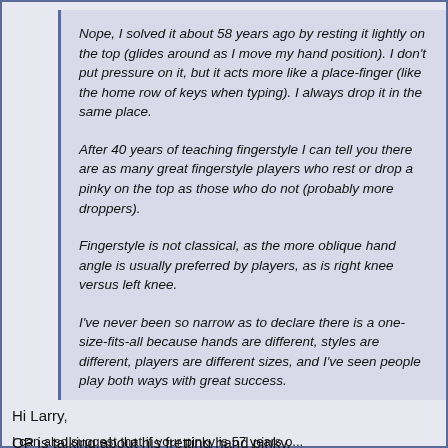Nope, I solved it about 58 years ago by resting it lightly on the top (glides around as I move my hand position). I don't put pressure on it, but it acts more like a place-finger (like the home row of keys when typing). I always drop it in the same place.
After 40 years of teaching fingerstyle I can tell you there are as many great fingerstyle players who rest or drop a pinky on the top as those who do not (probably more droppers).
Fingerstyle is not classical, as the more oblique hand angle is usually preferred by players, as is right knee versus left knee.
I've never been so narrow as to declare there is a one-size-fits-all because hands are different, styles are different, players are different sizes, and I've seen people play both ways with great success.
Hi Larry,
OP is talking about his fretting hand pinky.